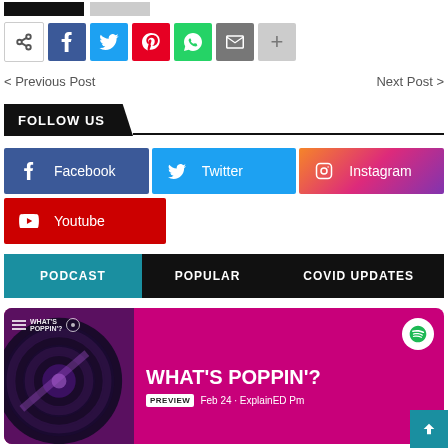[Figure (screenshot): Share buttons row: share icon, Facebook, Twitter, Pinterest, WhatsApp, Email, Plus]
< Previous Post    Next Post >
FOLLOW US
[Figure (infographic): Social media follow buttons: Facebook (blue), Twitter (cyan), Instagram (gradient), Youtube (red)]
[Figure (infographic): Tab bar with three tabs: PODCAST (teal), POPULAR (black), COVID UPDATES (black)]
[Figure (screenshot): Podcast card with vinyl record image on magenta background, Spotify icon, title WHAT'S POPPIN'?, PREVIEW tag, date Feb 24 · ExplainED Pm]